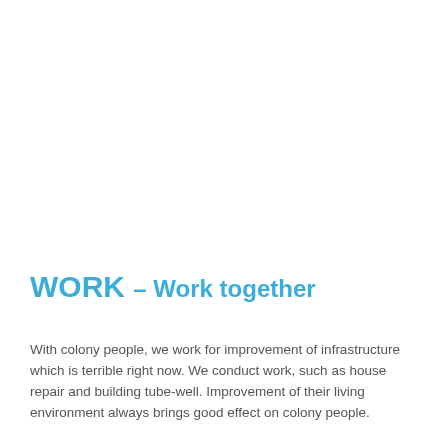WORK – Work together
With colony people, we work for improvement of infrastructure which is terrible right now. We conduct work, such as house repair and building tube-well. Improvement of their living environment always brings good effect on colony people.